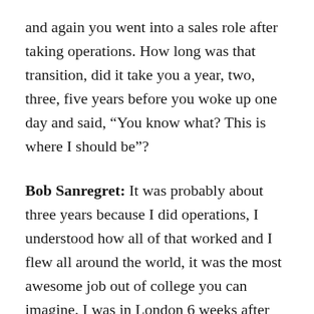and again you went into a sales role after taking operations. How long was that transition, did it take you a year, two, three, five years before you woke up one day and said, “You know what? This is where I should be”?
Bob Sanregret: It was probably about three years because I did operations, I understood how all of that worked and I flew all around the world, it was the most awesome job out of college you can imagine. I was in London 6 weeks after graduating college for a week, so I loved it. Then I met the salespeople over there and started to really embrace it, and it was probably about two years and then I just fell in love with sales and I haven’t gone back. I had a sales job at Learning Tree for 6 months and then I was promoted to VP of